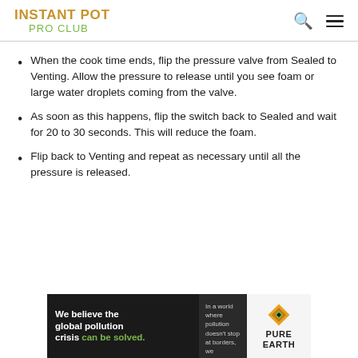INSTANT POT PRO CLUB
When the cook time ends, flip the pressure valve from Sealed to Venting. Allow the pressure to release until you see foam or large water droplets coming from the valve.
As soon as this happens, flip the switch back to Sealed and wait for 20 to 30 seconds. This will reduce the foam.
Flip back to Venting and repeat as necessary until all the pressure is released.
[Figure (infographic): Pure Earth advertisement banner: 'We believe the global pollution crisis can be solved.' with Pure Earth logo]